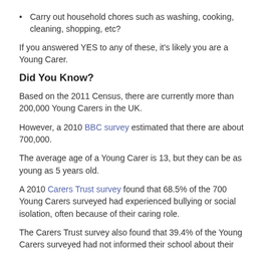Carry out household chores such as washing, cooking, cleaning, shopping, etc?
If you answered YES to any of these, it's likely you are a Young Carer.
Did You Know?
Based on the 2011 Census, there are currently more than 200,000 Young Carers in the UK.
However, a 2010 BBC survey estimated that there are about 700,000.
The average age of a Young Carer is 13, but they can be as young as 5 years old.
A 2010 Carers Trust survey found that 68.5% of the 700 Young Carers surveyed had experienced bullying or social isolation, often because of their caring role.
The Carers Trust survey also found that 39.4% of the Young Carers surveyed had not informed their school about their